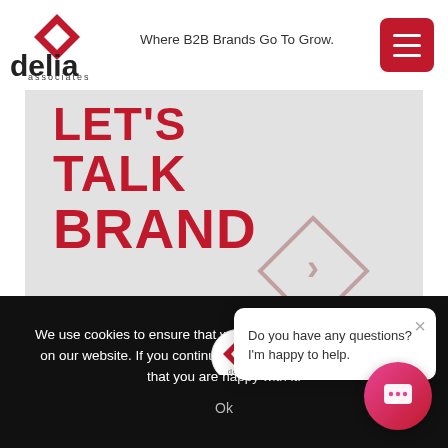[Figure (logo): Delia Associates logo with red diamond and text 'delia associates']
Where B2B Brands Go To Grow.
[Figure (illustration): Hero banner with 'LET'S TALK BRAND' in large red bold text on gray background, with red diamond arrow icon]
[Figure (illustration): Chat bubble: 'Do you have any questions? I'm happy to help.' with X close button and Delia logo avatar]
We use cookies to ensure that we give you the best experience on our website. If you continue to use this site we will assume that you are happy with it.
Ok